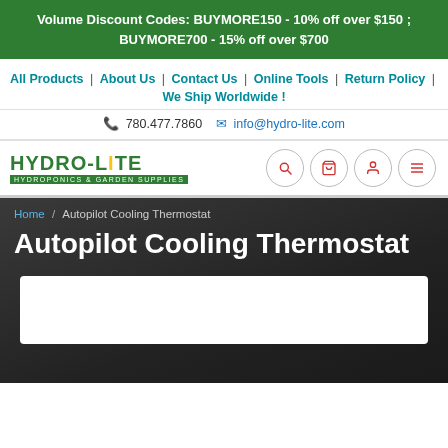Volume Discount Codes: BUYMORE150 - 10% off over $150 ; BUYMORE700 - 15% off over $700
All Products | About Us | Contact Us | Online Tools | Return Policy | We Ship Worldwide !
780.477.7860  info@hydro-lite.com
[Figure (logo): Hydro-Lite Hydroponics & Garden Supplies logo, green text with yellow accent, plus navigation icons for search, cart, account, and menu]
Home / Autopilot Cooling Thermostat
Autopilot Cooling Thermostat